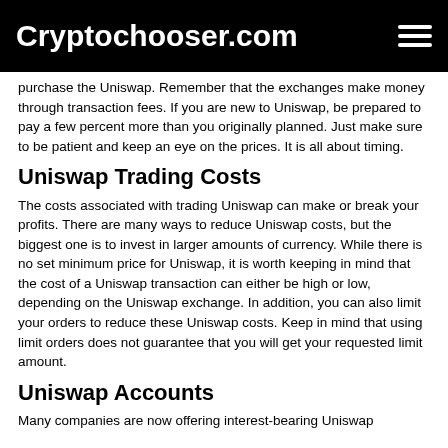Cryptochooser.com
purchase the Uniswap. Remember that the exchanges make money through transaction fees. If you are new to Uniswap, be prepared to pay a few percent more than you originally planned. Just make sure to be patient and keep an eye on the prices. It is all about timing.
Uniswap Trading Costs
The costs associated with trading Uniswap can make or break your profits. There are many ways to reduce Uniswap costs, but the biggest one is to invest in larger amounts of currency. While there is no set minimum price for Uniswap, it is worth keeping in mind that the cost of a Uniswap transaction can either be high or low, depending on the Uniswap exchange. In addition, you can also limit your orders to reduce these Uniswap costs. Keep in mind that using limit orders does not guarantee that you will get your requested limit amount.
Uniswap Accounts
Many companies are now offering interest-bearing Uniswap